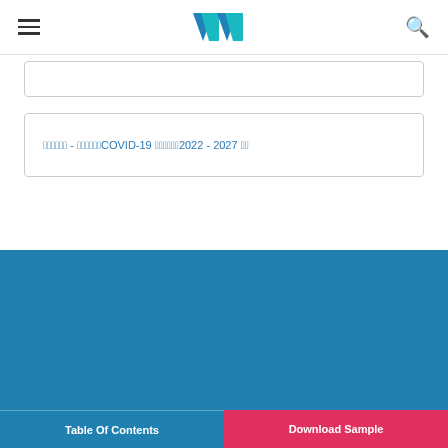Navigation bar with logo and search icon
日本語 - 日本語COVID-19 日本語2022 - 2027 日本
LINKS
Home
Terms and Conditions
Industry Reports
Site Map
Privacy Policy
We use cookies for a better user experience click here to know more about it.
Table Of Contents | Download Sample